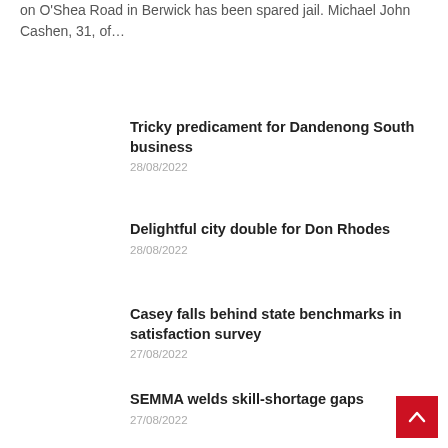on O'Shea Road in Berwick has been spared jail. Michael John Cashen, 31, of...
Tricky predicament for Dandenong South business
28/08/2022
Delightful city double for Don Rhodes
28/08/2022
Casey falls behind state benchmarks in satisfaction survey
27/08/2022
SEMMA welds skill-shortage gaps
27/08/2022